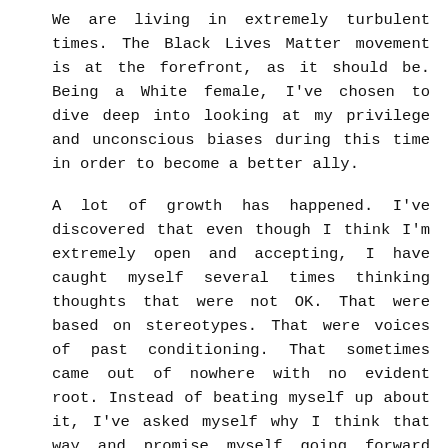We are living in extremely turbulent times. The Black Lives Matter movement is at the forefront, as it should be. Being a White female, I've chosen to dive deep into looking at my privilege and unconscious biases during this time in order to become a better ally.
A lot of growth has happened. I've discovered that even though I think I'm extremely open and accepting, I have caught myself several times thinking thoughts that were not OK. That were based on stereotypes. That were voices of past conditioning. That sometimes came out of nowhere with no evident root. Instead of beating myself up about it, I've asked myself why I think that way and promise myself going forward that I will look at the same person or situation with different eyes.
To intensify my growth in this area, I have sought out external resources to help expand my mind. This is where Unlocking Us comes in. I'm late to the Brené Brown bandwagon, but I'm glad I finally...